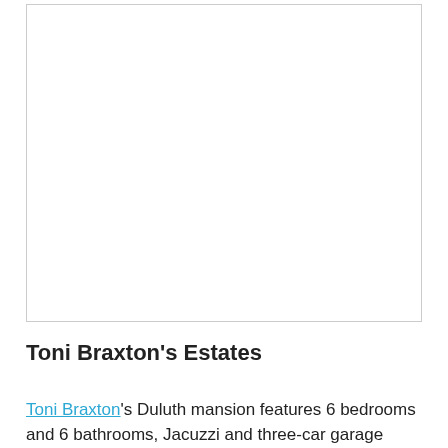[Figure (photo): Large white/blank image placeholder with a light gray border]
Toni Braxton's Estates
Toni Braxton's Duluth mansion features 6 bedrooms and 6 bathrooms, Jacuzzi and three-car garage and was built in